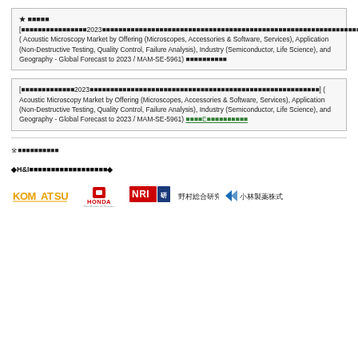★ ■■■■■ [■■■■■■■■■■■■■■■■2023■■■■■■■■■■■■■■■■■■■■■■■■■■■■■■■■■■■■■■■■■■■■■■■■■■■■■■■■■] ( Acoustic Microscopy Market by Offering (Microscopes, Accessories & Software, Services), Application (Non-Destructive Testing, Quality Control, Failure Analysis), Industry (Semiconductor, Life Science), and Geography - Global Forecast to 2023 / MAM-SE-5961) ■■■■■■■■■■
[■■■■■■■■■■■■■2023■■■■■■■■■■■■■■■■■■■■■■■■■■■■■■■■■■■■■■■■■■■■■■■■■■■■■■■■] ( Acoustic Microscopy Market by Offering (Microscopes, Accessories & Software, Services), Application (Non-Destructive Testing, Quality Control, Failure Analysis), Industry (Semiconductor, Life Science), and Geography - Global Forecast to 2023 / MAM-SE-5961) ■■■■E■■■■■■■■■■
※■■■■■■■■■■
◆H&I■■■■■■■■■■■■■■■■■■◆
[Figure (logo): Logos of Komatsu, Honda, NRI (Nomura Research Institute), 野村総合研究所, and 小林製薬株式会社]